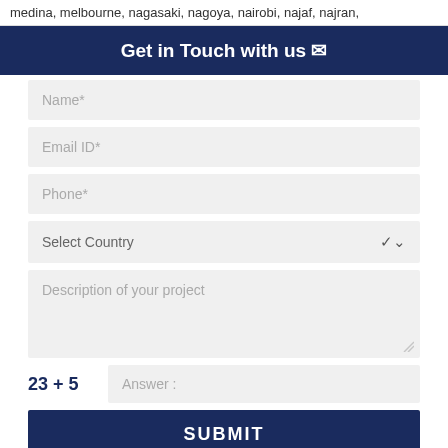medina, melbourne, nagasaki, nagoya, nairobi, najaf, najran,
Get in Touch with us ✉
Name*
Email ID*
Phone*
Select Country
Description of your project
23 + 5   Answer :
SUBMIT